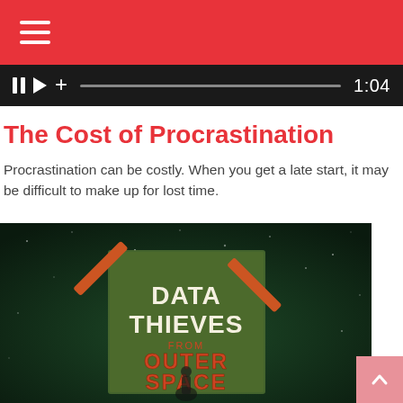Menu (hamburger icon)
[Figure (screenshot): Audio/video player bar with pause, play, and plus icons, a progress bar, and time display showing 1:04]
The Cost of Procrastination
Procrastination can be costly. When you get a late start, it may be difficult to make up for lost time.
[Figure (photo): Book cover for 'Data Thieves from Outer Space' shown against a dark green starry space background, with the book pinned by orange tape in an X pattern]